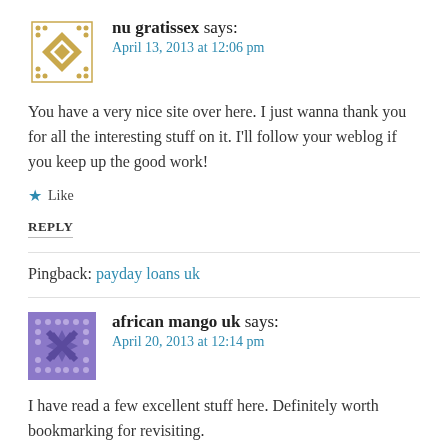[Figure (illustration): Gold/tan geometric diamond avatar icon for user nu gratissex]
nu gratissex says:
April 13, 2013 at 12:06 pm
You have a very nice site over here. I just wanna thank you for all the interesting stuff on it. I'll follow your weblog if you keep up the good work!
★ Like
REPLY
Pingback: payday loans uk
[Figure (illustration): Purple geometric diamond avatar icon for user african mango uk]
african mango uk says:
April 20, 2013 at 12:14 pm
I have read a few excellent stuff here. Definitely worth bookmarking for revisiting.